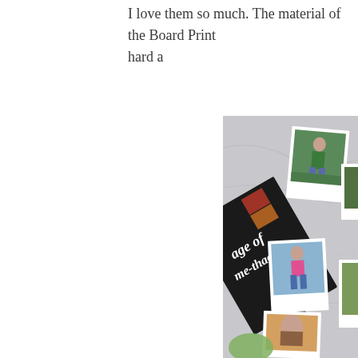I love them so much. The material of the Board Print hard a
[Figure (photo): Flat lay photo showing a magazine titled 'age of me-thaology', a MAC lipstick, several polaroid-style photos of a young woman in various outfits, arranged on a marble surface.]